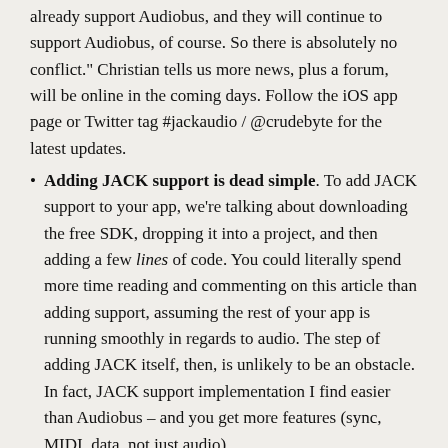already support Audiobus, and they will continue to support Audiobus, of course. So there is absolutely no conflict." Christian tells us more news, plus a forum, will be online in the coming days. Follow the iOS app page or Twitter tag #jackaudio / @crudebyte for the latest updates.
Adding JACK support is dead simple. To add JACK support to your app, we're talking about downloading the free SDK, dropping it into a project, and then adding a few lines of code. You could literally spend more time reading and commenting on this article than adding support, assuming the rest of your app is running smoothly in regards to audio. The step of adding JACK itself, then, is unlikely to be an obstacle. In fact, JACK support implementation I find easier than Audiobus – and you get more features (sync, MIDI, data, not just audio).
Which Bus Should You Ride?